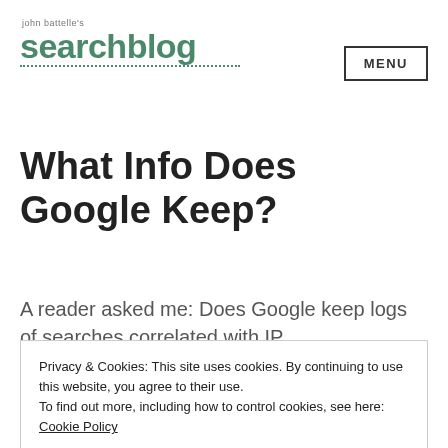john battelle's searchblog | MENU
What Info Does Google Keep?
A reader asked me: Does Google keep logs of searches correlated with IP
Privacy & Cookies: This site uses cookies. By continuing to use this website, you agree to their use. To find out more, including how to control cookies, see here: Cookie Policy
Close and accept